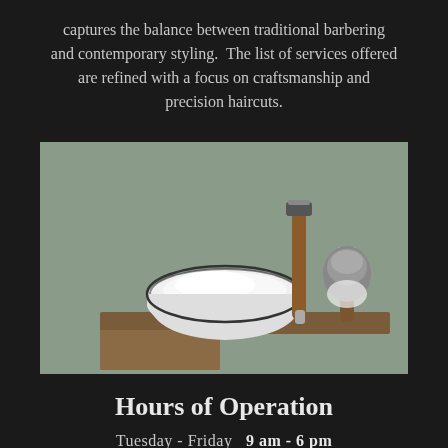captures the balance between traditional barbering and contemporary styling. The list of services offered are refined with a focus on craftsmanship and precision haircuts.
[Figure (photo): A white enamel shaving bowl filled with shaving cream sits on a wooden tray, flanked by a wooden-handled safety razor and a shaving brush with gray bristles, against a sage green background.]
Hours of Operation
Tuesday - Friday  9 am - 6 pm